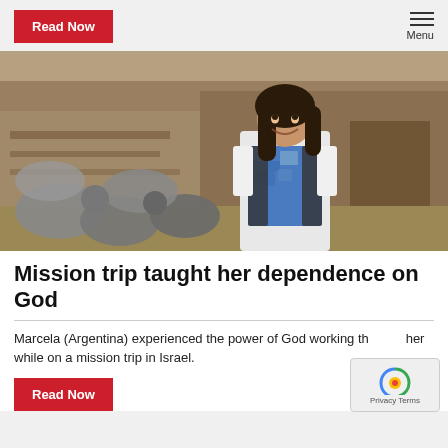Read Now | Menu
[Figure (photo): A smiling woman with long dark hair wearing a blue patterned top and dark vest, standing among sheep in what appears to be a farm or rural setting with wooden structures in the background.]
Mission trip taught her dependence on God
Marcela (Argentina) experienced the power of God working through her while on a mission trip in Israel.